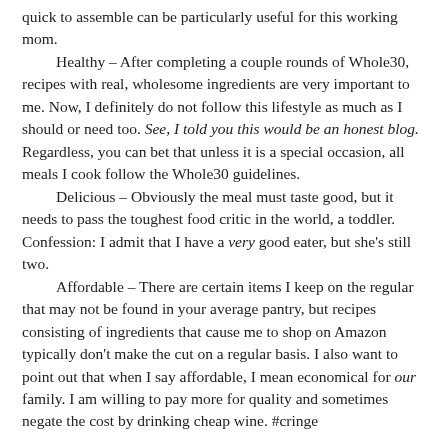quick to assemble can be particularly useful for this working mom.
Healthy – After completing a couple rounds of Whole30, recipes with real, wholesome ingredients are very important to me. Now, I definitely do not follow this lifestyle as much as I should or need too. See, I told you this would be an honest blog. Regardless, you can bet that unless it is a special occasion, all meals I cook follow the Whole30 guidelines.
Delicious – Obviously the meal must taste good, but it needs to pass the toughest food critic in the world, a toddler. Confession: I admit that I have a very good eater, but she's still two.
Affordable – There are certain items I keep on the regular that may not be found in your average pantry, but recipes consisting of ingredients that cause me to shop on Amazon typically don't make the cut on a regular basis. I also want to point out that when I say affordable, I mean economical for our family. I am willing to pay more for quality and sometimes negate the cost by drinking cheap wine. #cringe
Aside from being quite tasty, I loved that I could quickly whip up the marinade, toss in the drumsticks and stick it in the fridge to sit. As an added bonus, there are hardly any